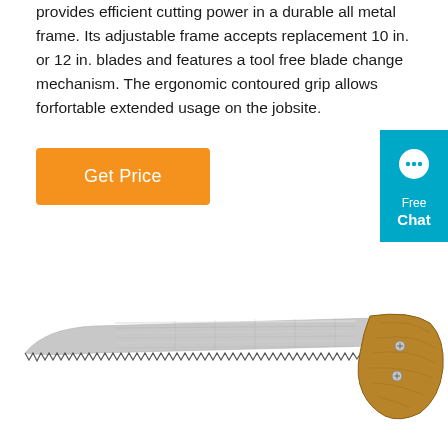provides efficient cutting power in a durable all metal frame. Its adjustable frame accepts replacement 10 in. or 12 in. blades and features a tool free blade change mechanism. The ergonomic contoured grip allows forfortable extended usage on the jobsite.
Get Price
[Figure (other): Teal/cyan chat widget with speech bubble icon and text 'Free Chat']
[Figure (photo): A hand saw with a serrated metal blade and a wooden ergonomic curved handle with two visible screws, shown on a white background.]